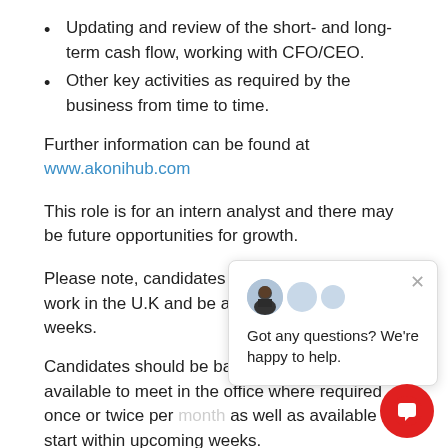Updating and review of the short- and long-term cash flow, working with CFO/CEO.
Other key activities as required by the business from time to time.
Further information can be found at www.akonihub.com
This role is for an intern analyst and there may be future opportunities for growth.
Please note, candidates must have the right to work in the U.K and be available to start within weeks.
Candidates should be based in London and available to meet in the office where required once or twice per month as well as available to start within upcoming weeks.